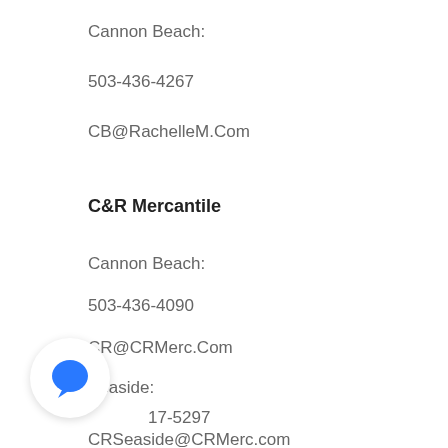Cannon Beach:
503-436-4267
CB@RachelleM.Com
C&R Mercantile
Cannon Beach:
503-436-4090
CR@CRMerc.Com
Seaside:
17-5297
CRSeaside@CRMerc.com